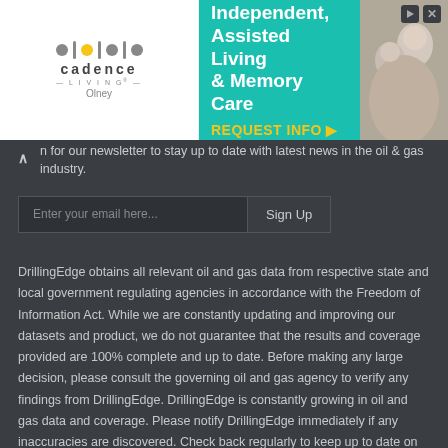[Figure (screenshot): Advertisement banner for Cadence Living Olney — Independent, Assisted Living & Memory Care with REQUEST INFO button and photo of elderly couple]
n for our newsletter to stay up to date with latest news in the oil & gas industry.
Enter your email here... Sign Up
DrillingEdge obtains all relevant oil and gas data from respective state and local government regulating agencies in accordance with the Freedom of Information Act. While we are constantly updating and improving our datasets and product, we do not guarantee that the results and coverage provided are 100% complete and up to date. Before making any large decision, please consult the governing oil and gas agency to verify any findings from DrillingEdge. DrillingEdge is constantly growing in oil and gas data and coverage. Please notify DrillingEdge immediately if any inaccuracies are discovered. Check back regularly to keep up to date on drilling to maintain the 'DrillingEdge'.